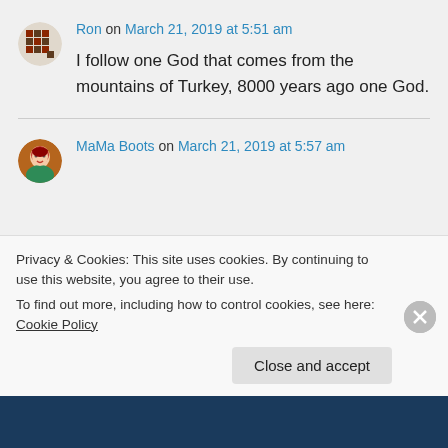Ron on March 21, 2019 at 5:51 am
I follow one God that comes from the mountains of Turkey, 8000 years ago one God.
MaMa Boots on March 21, 2019 at 5:57 am
Privacy & Cookies: This site uses cookies. By continuing to use this website, you agree to their use.
To find out more, including how to control cookies, see here: Cookie Policy